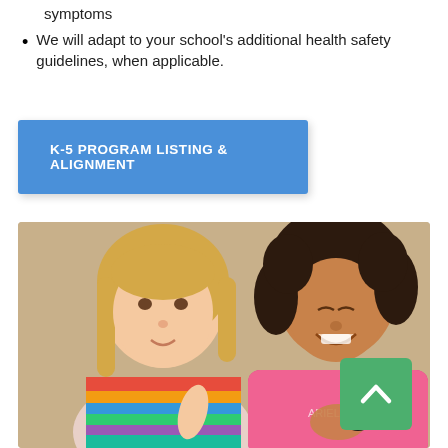symptoms
We will adapt to your school's additional health safety guidelines, when applicable.
K-5 PROGRAM LISTING & ALIGNMENT
[Figure (photo): Two young girls, one blonde and one with curly dark hair wearing a pink shirt, looking at a small dark object held in the curly-haired girl's hand. A green scroll-to-top button is in the bottom right corner.]